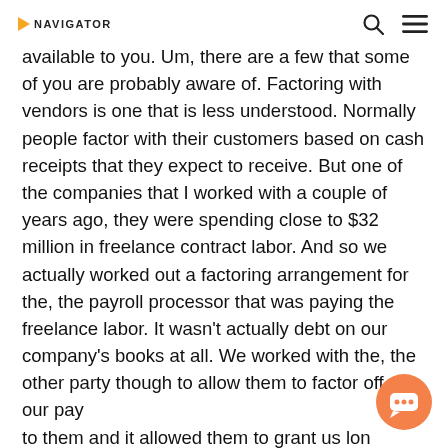NAVIGATOR
available to you. Um, there are a few that some of you are probably aware of. Factoring with vendors is one that is less understood. Normally people factor with their customers based on cash receipts that they expect to receive. But one of the companies that I worked with a couple of years ago, they were spending close to $32 million in freelance contract labor. And so we actually worked out a factoring arrangement for the, the payroll processor that was paying the freelance labor. It wasn't actually debt on our company's books at all. We worked with the, the other party though to allow them to factor off of our payments to them and it allowed them to grant us longer payment terms on a processing, all that freelance labor that...